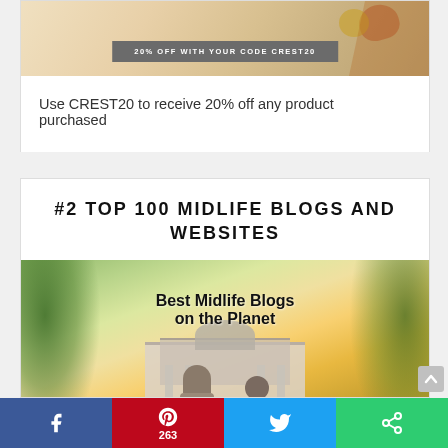[Figure (photo): Product promotional image with discount badge reading '20% OFF WITH YOUR CODE CREST20' on a gray banner over a light background]
Use CREST20 to receive 20% off any product purchased
#2 TOP 100 MIDLIFE BLOGS AND WEBSITES
[Figure (photo): Photo of two people facing away toward a large mansion, with text overlay 'Best Midlife Blogs on the Planet']
Facebook | Pinterest 263 | Twitter | Share